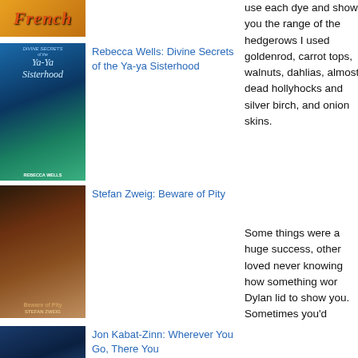[Figure (photo): Book cover with orange/red text reading FRENCH]
[Figure (photo): Book cover: Rebecca Wells - Divine Secrets of the Ya-ya Sisterhood, blue and teal tones with two figures]
Rebecca Wells: Divine Secrets of the Ya-ya Sisterhood
[Figure (photo): Book cover: Stefan Zweig - Beware of Pity, dark warm tones with figures]
Stefan Zweig: Beware of Pity
[Figure (photo): Book cover: Jon Kabat-Zinn - Wherever You Go, There You Are, blue mountain tones]
Jon Kabat-Zinn: Wherever You Go, There You
use each dye and show you the range of the hedgerows I used goldenrod, carrot tops, walnuts, dahlias, almost dead hollyhocks and silver birch, and onion skins.
Some things were a huge success, other loved never knowing how something wor Dylan lid to show you. Sometimes you'd